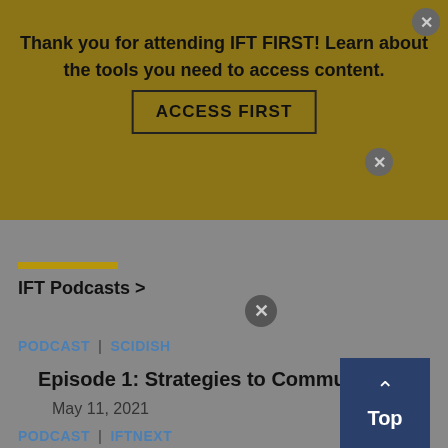Thank you for attending IFT FIRST! Learn about the tools you need to access content.
ACCESS FIRST
IFT Podcasts >
PODCAST | SCIDISH
Episode 1: Strategies to Communicate
May 11, 2021
PODCAST | IFTNEXT
^ Top